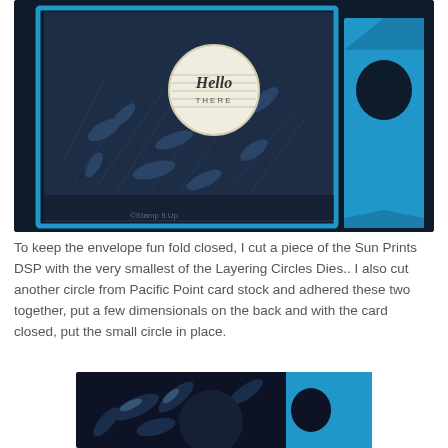[Figure (photo): A handmade greeting card with dark navy blue botanical patterned paper and a round 'Hello There' stamp, alongside a blue envelope fun fold with a circular cutout and a blue banner/flag piece, photographed on a dark background.]
To keep the envelope fun fold closed, I cut a piece of the Sun Prints DSP with the very smallest of the Layering Circles Dies.. I also cut another circle from Pacific Point card stock and adhered these two together, put a few dimensionals on the back and with the card closed, put the small circle in place.
[Figure (photo): Close-up photo showing a dark navy blue botanical patterned paper with a dark circular piece placed in the circular cutout of the blue envelope fun fold, with the teal/blue banner visible on the right side.]